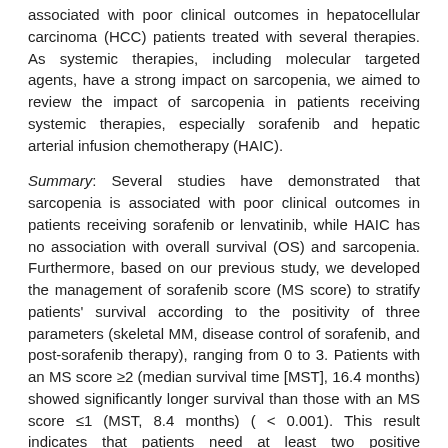associated with poor clinical outcomes in hepatocellular carcinoma (HCC) patients treated with several therapies. As systemic therapies, including molecular targeted agents, have a strong impact on sarcopenia, we aimed to review the impact of sarcopenia in patients receiving systemic therapies, especially sorafenib and hepatic arterial infusion chemotherapy (HAIC).
Summary: Several studies have demonstrated that sarcopenia is associated with poor clinical outcomes in patients receiving sorafenib or lenvatinib, while HAIC has no association with overall survival (OS) and sarcopenia. Furthermore, based on our previous study, we developed the management of sorafenib score (MS score) to stratify patients' survival according to the positivity of three parameters (skeletal MM, disease control of sorafenib, and post-sorafenib therapy), ranging from 0 to 3. Patients with an MS score ≥2 (median survival time [MST], 16.4 months) showed significantly longer survival than those with an MS score ≤1 (MST, 8.4 months) ( < 0.001). This result indicates that patients need at least two positive parameters to prolong OS. Although performance status (PS) has been used in the Barcelona Clinic Liver Cancer staging system, we consider that the assessment of sarcopenia has the potential to replace PS.